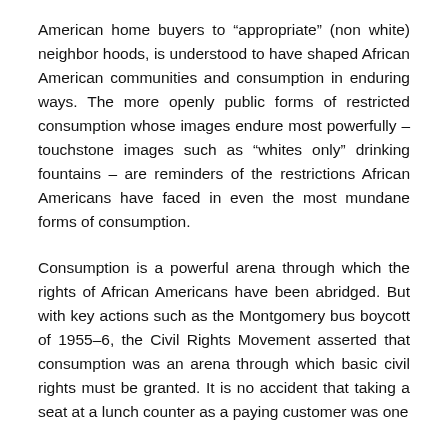American home buyers to “appropriate” (non white) neighbor hoods, is understood to have shaped African American communities and consumption in enduring ways. The more openly public forms of restricted consumption whose images endure most powerfully – touchstone images such as “whites only” drinking fountains – are reminders of the restrictions African Americans have faced in even the most mundane forms of consumption.
Consumption is a powerful arena through which the rights of African Americans have been abridged. But with key actions such as the Montgomery bus boycott of 1955–6, the Civil Rights Movement asserted that consumption was an arena through which basic civil rights must be granted. It is no accident that taking a seat at a lunch counter as a paying customer was one